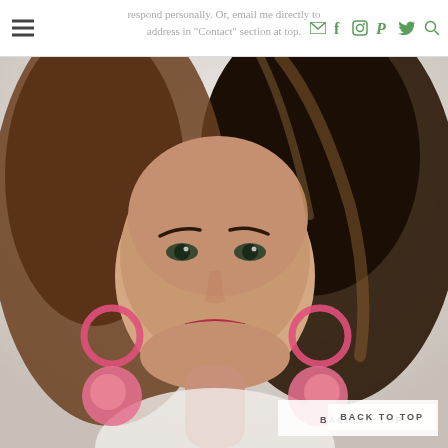respond personally. Or, email me directly to address in "Contact" section at top.
[Figure (photo): Headshot of a woman with dark brown wavy hair, wearing pink hoop earrings with pom-poms, smiling, photographed against a light background.]
BACK TO TOP